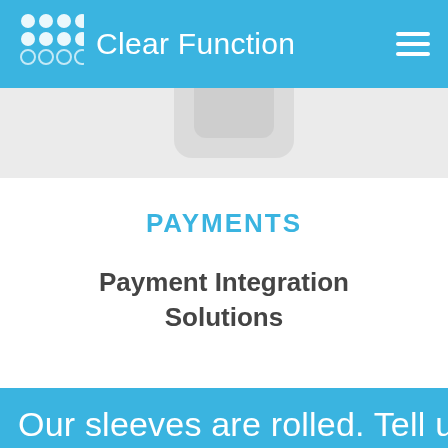Clear Function
[Figure (logo): Clear Function logo: grid of white circles on blue background, brand name 'Clear Function' in white text, hamburger menu icon on right]
PAYMENTS
Payment Integration Solutions
Our sleeves are rolled. Tell us